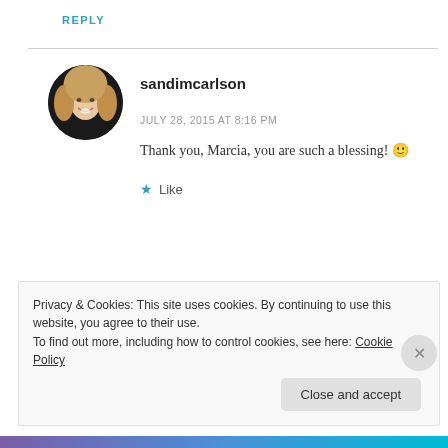REPLY
[Figure (photo): Circular avatar photo of a blonde woman smiling]
sandimcarlson
JULY 28, 2015 AT 8:16 PM
Thank you, Marcia, you are such a blessing! 🙂
★ Like
REPLY
Privacy & Cookies: This site uses cookies. By continuing to use this website, you agree to their use.
To find out more, including how to control cookies, see here: Cookie Policy
Close and accept